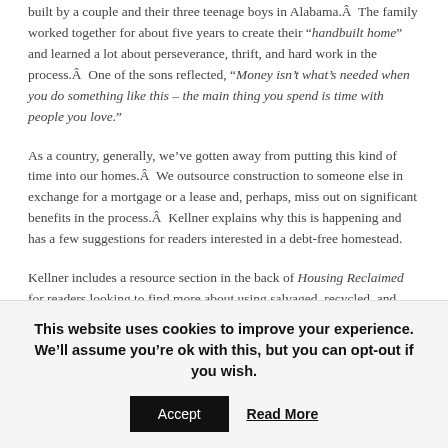built by a couple and their three teenage boys in Alabama.Â  The family worked together for about five years to create their "handbuilt home" and learned a lot about perseverance, thrift, and hard work in the process.Â  One of the sons reflected, "Money isn't what's needed when you do something like this – the main thing you spend is time with people you love."
As a country, generally, we've gotten away from putting this kind of time into our homes.Â  We outsource construction to someone else in exchange for a mortgage or a lease and, perhaps, miss out on significant benefits in the process.Â  Kellner explains why this is happening and has a few suggestions for readers interested in a debt-free homestead.
Kellner includes a resource section in the back of Housing Reclaimed for readers looking to find more about using salvaged, recycled, and existing materials.Â  The section includes a state-by-state list of companies, outlets, and organizations dedicated to materials reuse.Â  If this is something you're curious about:
This website uses cookies to improve your experience. We'll assume you're ok with this, but you can opt-out if you wish.